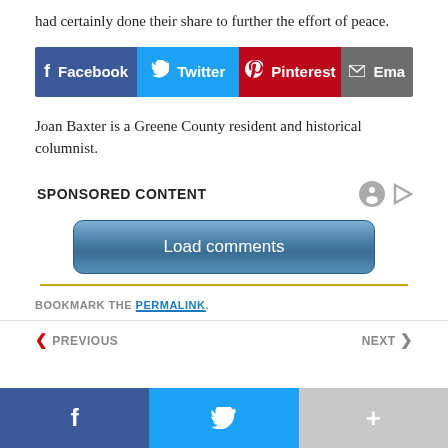had certainly done their share to further the effort of peace.
[Figure (infographic): Social share buttons: Facebook (blue), Twitter (light blue), Pinterest (red), Email (gray)]
Joan Baxter is a Greene County resident and historical columnist.
SPONSORED CONTENT
[Figure (other): Load comments button]
BOOKMARK THE PERMALINK.
< PREVIOUS   NEXT >
[Figure (infographic): Bottom navigation bar with Facebook, Twitter, and share buttons]